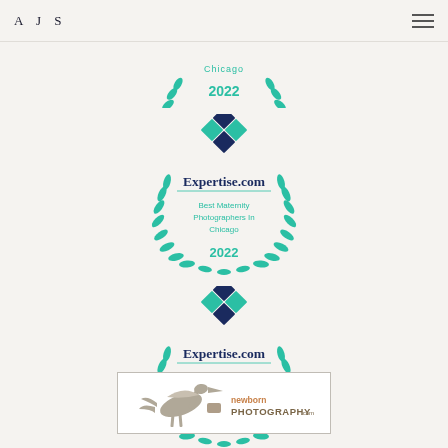AJS
[Figure (logo): Expertise.com badge - Best Maternity Photographers in Chicago 2022, with teal laurel wreath and diamond logo]
[Figure (logo): Expertise.com badge - Best Family Photographers in Chicago 2022, with teal laurel wreath and diamond logo]
[Figure (logo): Newborn Photography.com badge with stork illustration]